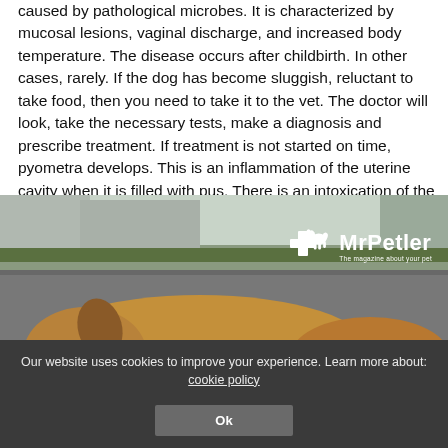caused by pathological microbes. It is characterized by mucosal lesions, vaginal discharge, and increased body temperature. The disease occurs after childbirth. In other cases, rarely. If the dog has become sluggish, reluctant to take food, then you need to take it to the vet. The doctor will look, take the necessary tests, make a diagnosis and prescribe treatment. If treatment is not started on time, pyometra develops. This is an inflammation of the uterine cavity when it is filled with pus. There is an intoxication of the body, and the dog dies.
[Figure (photo): A tan/brown dog lying flat on a paved surface with a red collar, looking lethargic. MrPetler logo with cross and dog silhouette visible in upper right of the photo.]
Our website uses cookies to improve your experience. Learn more about: cookie policy
Ok